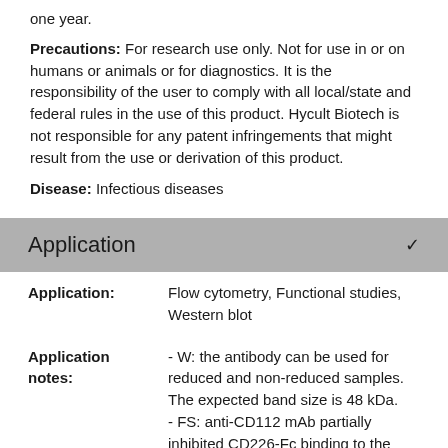one year.
Precautions: For research use only. Not for use in or on humans or animals or for diagnostics. It is the responsibility of the user to comply with all local/state and federal rules in the use of this product. Hycult Biotech is not responsible for any patent infringements that might result from the use or derivation of this product.
Disease: Infectious diseases
Application
|  |  |
| --- | --- |
| Application: | Flow cytometry, Functional studies, Western blot |
| Application notes: | - W: the antibody can be used for reduced and non-reduced samples. The expected band size is 48 kDa.
- FS: anti-CD112 mAb partially inhibited CD226-Fc binding to the CD112 transfectant. It is of note that anti-CD155 and anti-CD112 (TX-31) mAb partially |